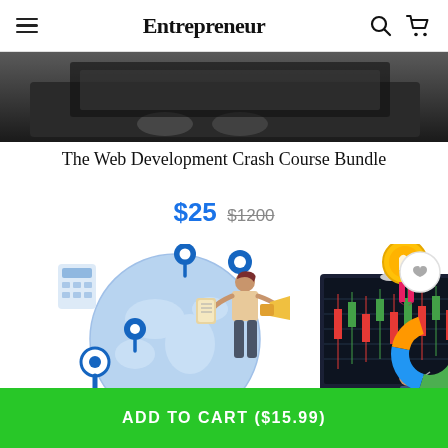Entrepreneur
[Figure (photo): Top portion of a product image showing a dark surface with a laptop/tablet]
The Web Development Crash Course Bundle
$25  $1200
[Figure (illustration): Colorful illustration showing a woman with a megaphone and notebook standing in front of a globe with map pins, alongside a trading/stock chart screen, a chess piece, a pie chart, and a gold medal/ribbon badge]
ADD TO CART ($15.99)